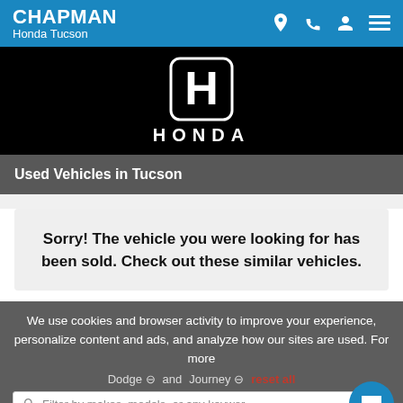CHAPMAN Honda Tucson
[Figure (logo): Honda logo (H emblem) and HONDA wordmark on black background]
Used Vehicles in Tucson
Sorry! The vehicle you were looking for has been sold. Check out these similar vehicles.
We use cookies and browser activity to improve your experience, personalize content and ads, and analyze how our sites are used. For more information, view our Privacy Policy
Dodge ⊖  and  Journey ⊖  reset all
Filter by makes, models, or any keyword